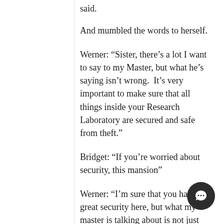said.
And mumbled the words to herself.
Werner: “Sister, there’s a lot I want to say to my Master, but what he’s saying isn’t wrong.  It’s very important to make sure that all things inside your Research Laboratory are secured and safe from theft.”
Bridget: “If you’re worried about security, this mansion”
Werner: “I’m sure that you have great security here, but what my master is talking about is not just protection.”
Bridget: “Hm?”